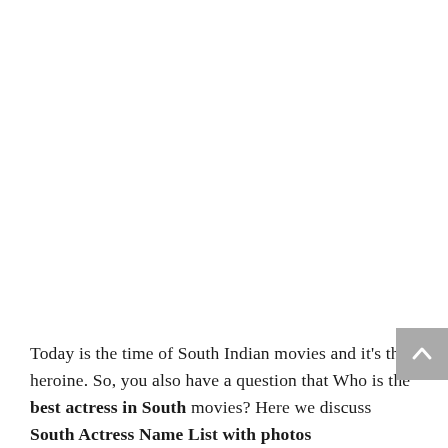Today is the time of South Indian movies and it's the heroine. So, you also have a question that Who is the best actress in South movies? Here we discuss South Actress Name List with photos